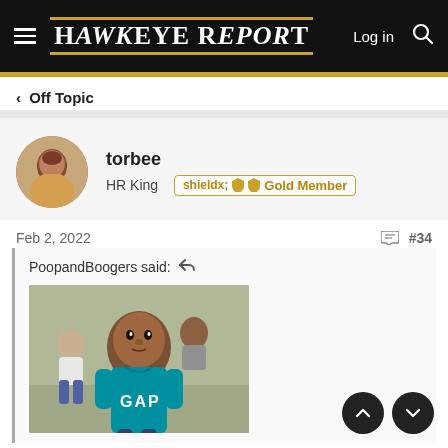Hawkeye Report — Log in | Search
< Off Topic
torbee
HR King   Gold Member
Feb 2, 2022   #34
PoopandBoogers said:
[Figure (photo): A child wearing a teal GAP shirt, looking at camera, with other people in background]